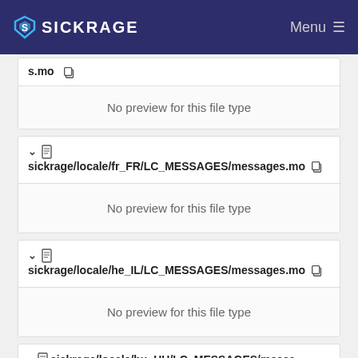SICKRAGE  Menu
s.mo
No preview for this file type
sickrage/locale/fr_FR/LC_MESSAGES/messages.mo
No preview for this file type
sickrage/locale/he_IL/LC_MESSAGES/messages.mo
No preview for this file type
sickrage/locale/hu_HU/LC_MESSAGES/messa...